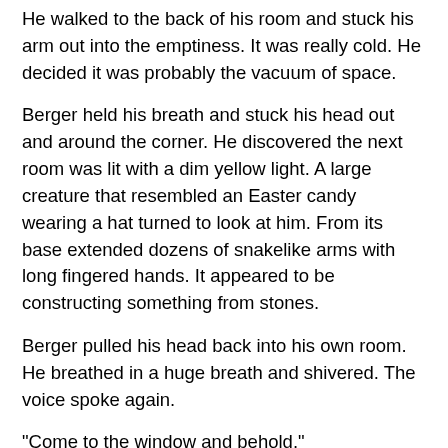He walked to the back of his room and stuck his arm out into the emptiness. It was really cold. He decided it was probably the vacuum of space.
Berger held his breath and stuck his head out and around the corner. He discovered the next room was lit with a dim yellow light. A large creature that resembled an Easter candy wearing a hat turned to look at him. From its base extended dozens of snakelike arms with long fingered hands. It appeared to be constructing something from stones.
Berger pulled his head back into his own room. He breathed in a huge breath and shivered. The voice spoke again.
"Come to the window and behold."
Berger approached the window and found a small glowing cloud outside. "What are you?" he asked.
The cloud formed itself into a human-like face and spoke. "I will become the speed of light."
Berger was impressed. "A universal constant in the making," he said. He was surprised how easily his